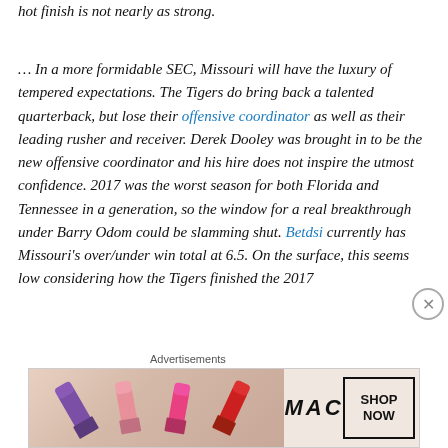hot finish is not nearly as strong.
… In a more formidable SEC, Missouri will have the luxury of tempered expectations. The Tigers do bring back a talented quarterback, but lose their offensive coordinator as well as their leading rusher and receiver. Derek Dooley was brought in to be the new offensive coordinator and his hire does not inspire the utmost confidence. 2017 was the worst season for both Florida and Tennessee in a generation, so the window for a real breakthrough under Barry Odom could be slamming shut. Betdsi currently has Missouri's over/under win total at 6.5. On the surface, this seems low considering how the Tigers finished the 2017
Advertisements
[Figure (photo): MAC cosmetics advertisement banner showing lipsticks in purple, pink, and red with MAC logo and SHOP NOW button]